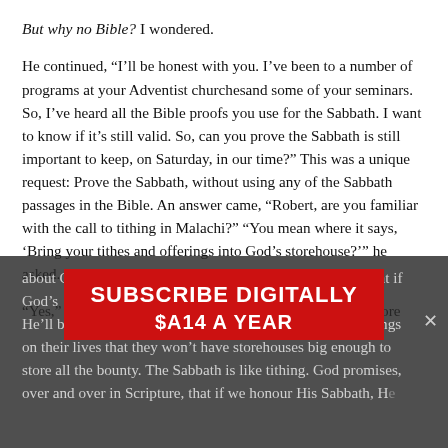But why no Bible? I wondered.
He continued, “I’ll be honest with you. I’ve been to a number of programs at your Adventist churchesand some of your seminars. So, I’ve heard all the Bible proofs you use for the Sabbath. I want to know if it’s still valid. So, can you prove the Sabbath is still important to keep, on Saturday, in our time?” This was a unique request: Prove the Sabbath, without using any of the Sabbath passages in the Bible. An answer came, “Robert, are you familiar with the call to tithing in Malachi?” “You mean where it says, ‘Bring your tithes and offerings into God’s storehouse?’” he asked.
“Yes,” I replied. “That’s it. It demonstrates that tithing is more about God’s promise than our obedience. The text states that if God’s people tithe, He promises to provide—He’ll bless them. It actually says He’ll pour so many blessings on their lives that they won’t have storehouses big enough to store all the bounty. The Sabbath is like tithing. God promises, over and over in Scripture, that if we honour His Sabbath, He…
[Figure (other): Subscribe digitally banner overlay in red with white bold text reading 'SUBSCRIBE DIGITALLY' and '$A14 A YEAR']